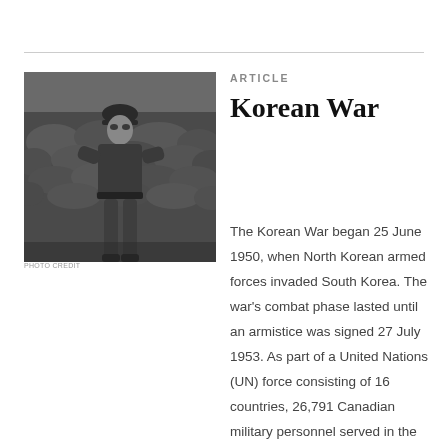[Figure (photo): Black and white photograph of a soldier in military uniform and helmet standing against a wall of sandbags during the Korean War]
ARTICLE
Korean War
The Korean War began 25 June 1950, when North Korean armed forces invaded South Korea. The war's combat phase lasted until an armistice was signed 27 July 1953. As part of a United Nations (UN) force consisting of 16 countries, 26,791 Canadian military personnel served in the Korean War